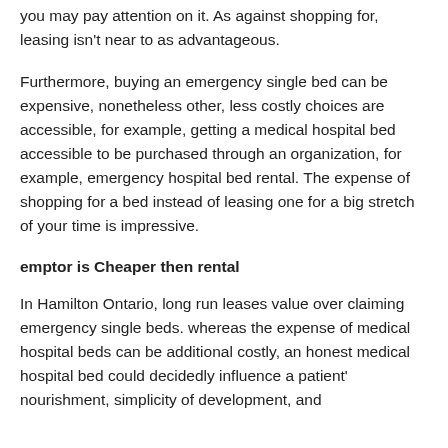you may pay attention on it. As against shopping for, leasing isn't near to as advantageous.
Furthermore, buying an emergency single bed can be expensive, nonetheless other, less costly choices are accessible, for example, getting a medical hospital bed accessible to be purchased through an organization, for example, emergency hospital bed rental. The expense of shopping for a bed instead of leasing one for a big stretch of your time is impressive.
emptor is Cheaper then rental
In Hamilton Ontario, long run leases value over claiming emergency single beds. whereas the expense of medical hospital beds can be additional costly, an honest medical hospital bed could decidedly influence a patient' nourishment, simplicity of development, and